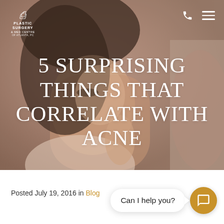[Figure (photo): Hero banner showing a young woman examining her skin in a mirror, warm toned background, used as header image for a blog post about acne]
5 SURPRISING THINGS THAT CORRELATE WITH ACNE
PLASTIC SURGERY & MED SPA CENTRE of Atlanta, PC
Posted July 19, 2016 in Blog
Can I help you?